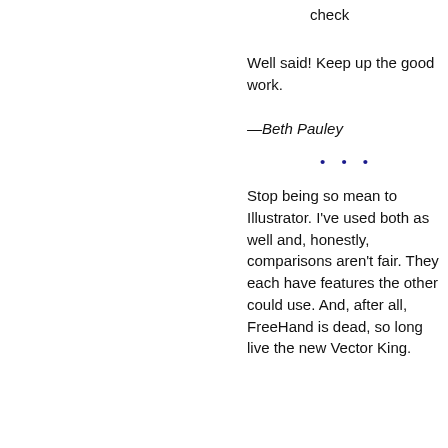check
Well said! Keep up the good work.
—Beth Pauley
• • •
Stop being so mean to Illustrator. I've used both as well and, honestly, comparisons aren't fair. They each have features the other could use. And, after all, FreeHand is dead, so long live the new Vector King.